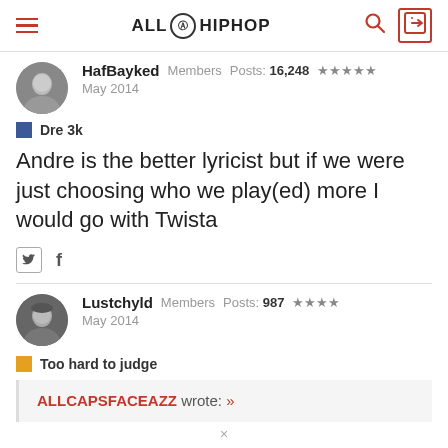ALL HIPHOP
HafBayked  Members  Posts: 16,248  ★★★★★  May 2014
Dre 3k
Andre is the better lyricist but if we were just choosing who we play(ed) more I would go with Twista
Lustchyld  Members  Posts: 987  ★★★★  May 2014
Too hard to judge
ALLCAPSFACEAZZ wrote: »